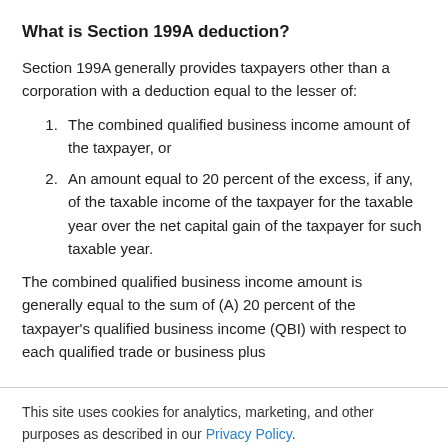What is Section 199A deduction?
Section 199A generally provides taxpayers other than a corporation with a deduction equal to the lesser of:
The combined qualified business income amount of the taxpayer, or
An amount equal to 20 percent of the excess, if any, of the taxable income of the taxpayer for the taxable year over the net capital gain of the taxpayer for such taxable year.
The combined qualified business income amount is generally equal to the sum of (A) 20 percent of the taxpayer's qualified business income (QBI) with respect to each qualified trade or business plus
This site uses cookies for analytics, marketing, and other purposes as described in our Privacy Policy.